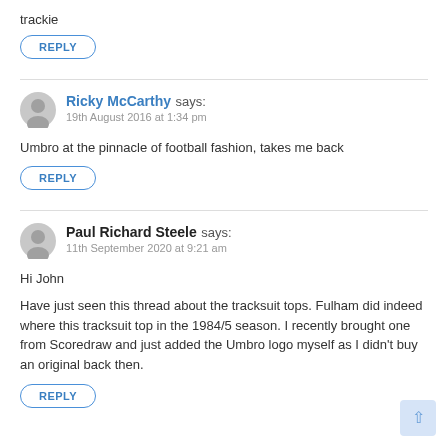trackie
REPLY
Ricky McCarthy says: 19th August 2016 at 1:34 pm
Umbro at the pinnacle of football fashion, takes me back
REPLY
Paul Richard Steele says: 11th September 2020 at 9:21 am
Hi John
Have just seen this thread about the tracksuit tops. Fulham did indeed where this tracksuit top in the 1984/5 season. I recently brought one from Scoredraw and just added the Umbro logo myself as I didn't buy an original back then.
REPLY